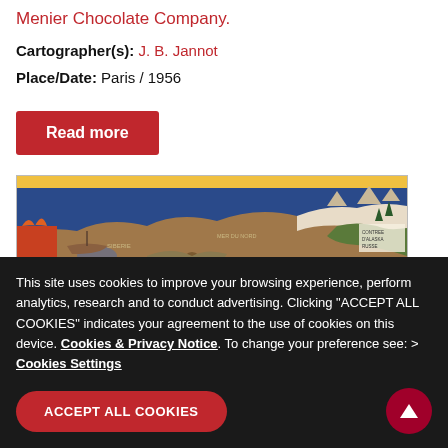Menier Chocolate Company.
Cartographer(s): J. B. Jannot
Place/Date: Paris / 1956
Read more
[Figure (map): Decorative illustrated map showing geographical regions with pictorial elements including ships, animals, and landscape features against a blue ocean background with yellow border strip at top.]
This site uses cookies to improve your browsing experience, perform analytics, research and to conduct advertising. Clicking "ACCEPT ALL COOKIES" indicates your agreement to the use of cookies on this device. Cookies & Privacy Notice. To change your preference see: > Cookies Settings
ACCEPT ALL COOKIES